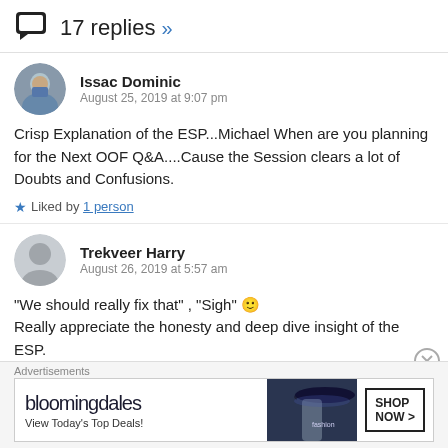17 replies »
Issac Dominic
August 25, 2019 at 9:07 pm
Crisp Explanation of the ESP...Michael When are you planning for the Next OOF Q&A....Cause the Session clears a lot of Doubts and Confusions.
Liked by 1 person
Trekveer Harry
August 26, 2019 at 5:57 am
“We should really fix that” , “Sigh” 🙂
Really appreciate the honesty and deep dive insight of the ESP.
Advertisements